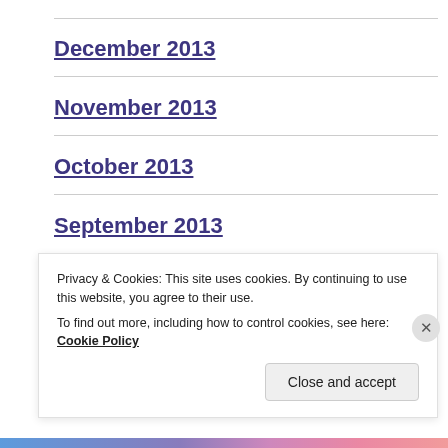December 2013
November 2013
October 2013
September 2013
August 2013
July 2013
Privacy & Cookies: This site uses cookies. By continuing to use this website, you agree to their use.
To find out more, including how to control cookies, see here: Cookie Policy
Close and accept